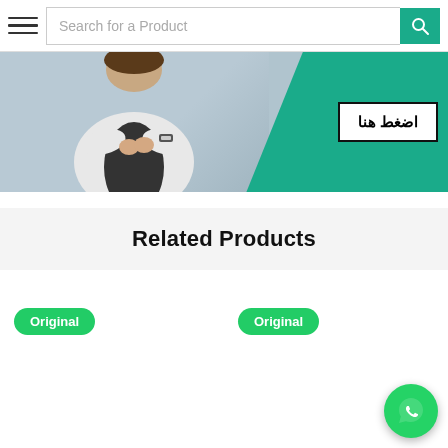Search for a Product
[Figure (photo): Banner image showing a person in a white shirt with a teal green section and an Arabic button reading 'اضغط هنا' (Click Here)]
Related Products
Original (badge, left product)
Original (badge, right product)
[Figure (logo): WhatsApp floating action button (green circle with phone icon)]